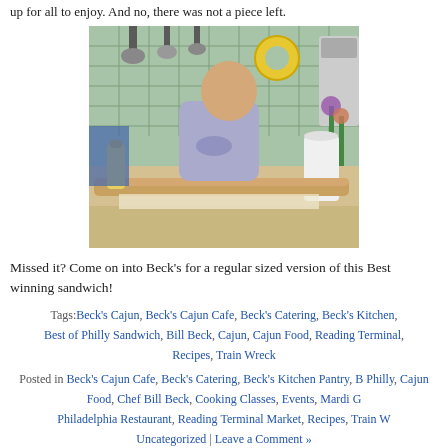up for all to enjoy. And no, there was not a piece left.
[Figure (photo): A man in a gray t-shirt standing behind a kitchen counter holding a very long sub sandwich/hoagie. Kitchen background with green tile, hanging pots, yellow wreath, and flowers.]
Missed it? Come on into Beck's for a regular sized version of this Best winning sandwich!
Tags: Beck's Cajun, Beck's Cajun Cafe, Beck's Catering, Beck's Kitchen, Best of Philly Sandwich, Bill Beck, Cajun, Cajun Food, Reading Terminal, Recipes, Train Wreck
Posted in Beck's Cajun Cafe, Beck's Catering, Beck's Kitchen Pantry, B Philly, Cajun Food, Chef Bill Beck, Cooking Classes, Events, Mardi G Philadelphia Restaurant, Reading Terminal Market, Recipes, Train W Uncategorized | Leave a Comment »